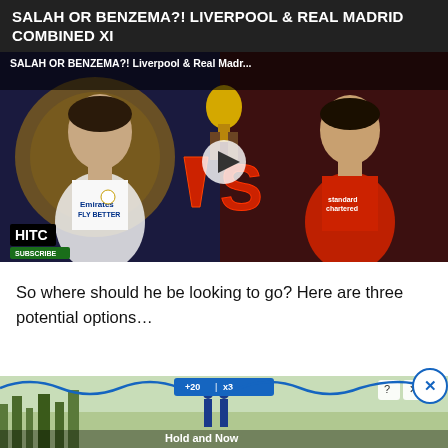SALAH OR BENZEMA?! Liverpool & Real Madrid Combined XI
[Figure (screenshot): YouTube video thumbnail showing Karim Benzema (Real Madrid white kit) on left and Mohamed Salah (Liverpool red kit) on right with VS text in the middle and a Ballon d'Or trophy held up in the center background. HITC logo and SUBSCRIBE button in bottom-left. Title overlay: SALAH OR BENZEMA?! Liverpool & Real Madr...]
So where should he be looking to go? Here are three potential options…
[Figure (screenshot): Advertisement banner at the bottom showing outdoor winter scene with score bar (+20, x3) and Hold and Now text. Ad controls (? and X buttons) in top right.]